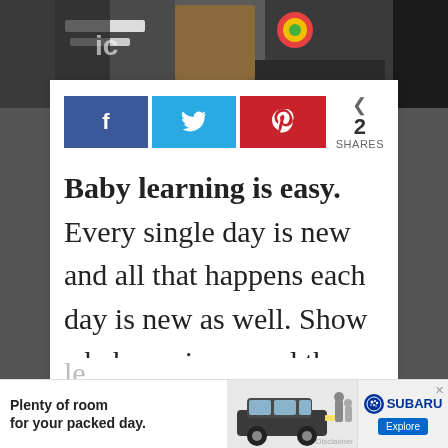[Figure (photo): Classroom/learning scene photo visible at the top of the page, partially obscured by the white card]
[Figure (infographic): Social sharing buttons: Facebook (blue), Twitter (light blue), Pinterest (red), with share count showing 2 SHARES]
Baby learning is easy. Every single day is new and all that happens each day is new as well. Show a baby a zipper and they learn. Put their hand under running water and they le...
[Figure (screenshot): Subaru advertisement: 'Plenty of room for your packed day.' with car image and Subaru logo/Explore button]